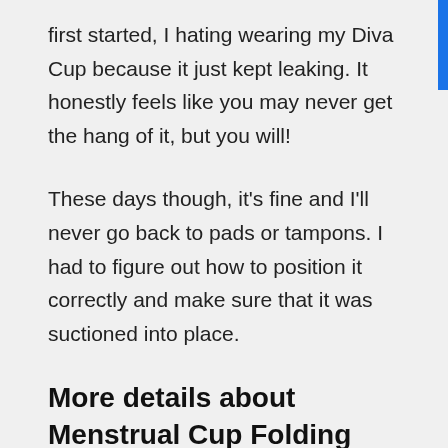first started, I hating wearing my Diva Cup because it just kept leaking. It honestly feels like you may never get the hang of it, but you will!
These days though, it's fine and I'll never go back to pads or tampons. I had to figure out how to position it correctly and make sure that it was suctioned into place.
More details about Menstrual Cup Folding from Super Jennie
We love the advice on the Super Jennie's website. In case you haven't heard of this menstrual cup, it's a ... But the Super Jennie is